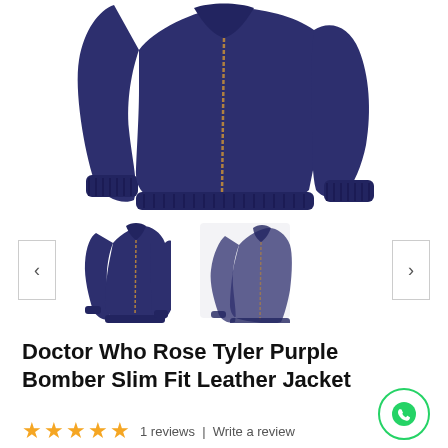[Figure (photo): Main product image: purple leather bomber jacket displayed on white background, showing front and sleeves]
[Figure (photo): Thumbnail 1: purple leather bomber jacket front view]
[Figure (photo): Thumbnail 2: purple leather bomber jacket side/back view]
Doctor Who Rose Tyler Purple Bomber Slim Fit Leather Jacket
1 reviews | Write a review